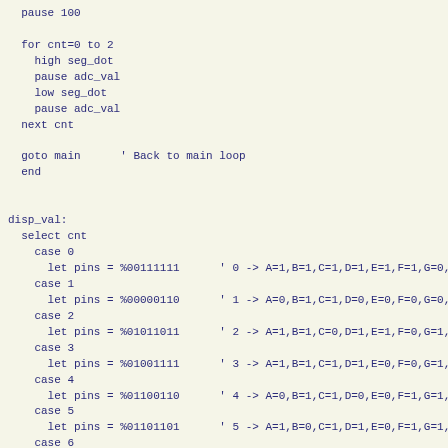pause 100

for cnt=0 to 2
  high seg_dot
  pause adc_val
  low seg_dot
  pause adc_val
next cnt

goto main      ' Back to main loop
end


disp_val:
  select cnt
    case 0
      let pins = %00111111      ' 0 -> A=1,B=1,C=1,D=1,E=1,F=1,G=0,D
    case 1
      let pins = %00000110      ' 1 -> A=0,B=1,C=1,D=0,E=0,F=0,G=0,D
    case 2
      let pins = %01011011      ' 2 -> A=1,B=1,C=0,D=1,E=1,F=0,G=1,D
    case 3
      let pins = %01001111      ' 3 -> A=1,B=1,C=1,D=1,E=0,F=0,G=1,D
    case 4
      let pins = %01100110      ' 4 -> A=0,B=1,C=1,D=0,E=0,F=1,G=1,D
    case 5
      let pins = %01101101      ' 5 -> A=1,B=0,C=1,D=1,E=0,F=1,G=1,D
    case 6
      let pins = %01111101      ' 6 -> A=1,B=0,C=1,D=1,E=1,F=1,G=1,D
    case 7
      let pins = %00000111      ' 7 -> A=1,B=1,C=1,D=0,E=0,F=0,G=0,D
    case 8
      let pins = %01111111      ' 8 -> A=1,B=1,C=1,D=1,E=1,F=1,G=1,D
    case 9
      let pins = %01101111      ' 9 -> A=1,B=1,C=1,D=1,E=0,F=1,G=1,D
  endselect
  return